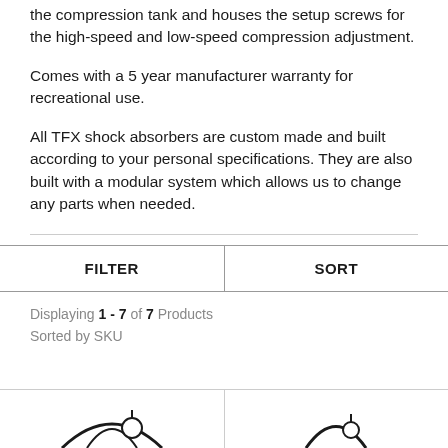the compression tank and houses the setup screws for the high-speed and low-speed compression adjustment.
Comes with a 5 year manufacturer warranty for recreational use.
All TFX shock absorbers are custom made and built according to your personal specifications. They are also built with a modular system which allows us to change any parts when needed.
| FILTER | SORT |
| --- | --- |
Displaying 1 - 7 of 7 Products
Sorted by SKU
[Figure (photo): Two product images partially visible at bottom of page, showing circular mechanical components (shock absorbers).]